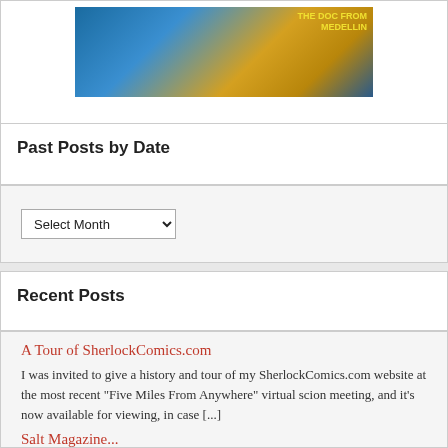[Figure (photo): Promotional banner image with text overlays including 'THE DOC FROM MEDELLIN' in yellow text, with restriction text below reading 'Restrictions apply. See amazon.com/pantazine']
Past Posts by Date
Select Month (dropdown selector)
Recent Posts
A Tour of SherlockComics.com
I was invited to give a history and tour of my SherlockComics.com website at the most recent "Five Miles From Anywhere" virtual scion meeting, and it's now available for viewing, in case [...]